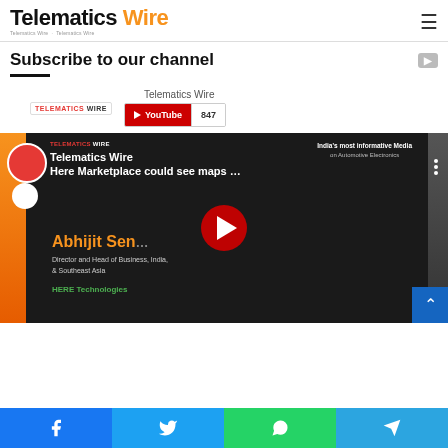Telematics Wire
Subscribe to our channel
Telematics Wire
YouTube 847
[Figure (screenshot): YouTube video thumbnail: Telematics Wire - Here Marketplace could see maps ... featuring Abhijit Sen, Director and Head of Business, India & Southeast Asia, HERE Technologies. Red play button overlay.]
Facebook | Twitter | WhatsApp | Telegram